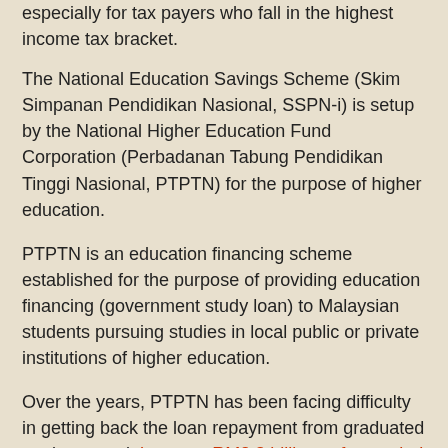especially for tax payers who fall in the highest income tax bracket.
The National Education Savings Scheme (Skim Simpanan Pendidikan Nasional, SSPN-i) is setup by the National Higher Education Fund Corporation (Perbadanan Tabung Pendidikan Tinggi Nasional, PTPTN) for the purpose of higher education.
PTPTN is an education financing scheme established for the purpose of providing education financing (government study loan) to Malaysian students pursuing studies in local public or private institutions of higher education.
Over the years, PTPTN has been facing difficulty in getting back the loan repayment from graduated students, and there are RM2.3 billions of unsettled loan as reported in September 2013.
As such, there is little doubt to view SSPN-i to be setup to maintain the cash flow of PTPTN, or new students might not be able to obtain loan from PTPTN as their cash flow dried up.